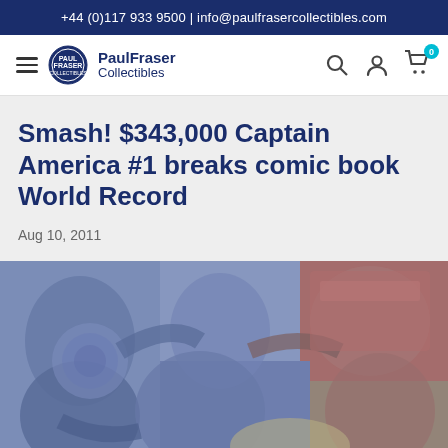+44 (0)117 933 9500 | info@paulfrasercollectibles.com
[Figure (logo): PaulFraser Collectibles navigation bar with hamburger menu, circular logo, brand name, search icon, user icon, and cart icon with badge showing 0]
Smash! $343,000 Captain America #1 breaks comic book World Record
Aug 10, 2011
[Figure (illustration): Comic book artwork showing Captain America in action, with blended/washed-out blue and red tones depicting a fighting scene]